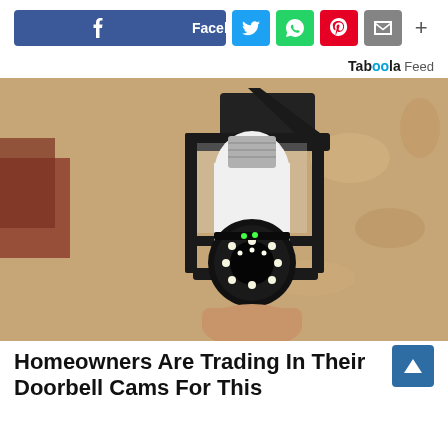[Figure (infographic): Social media share bar with Facebook, Twitter, WhatsApp, Pinterest, Email, and More buttons]
Taboola Feed
[Figure (photo): A person installing a security camera light bulb into an outdoor black lantern fixture mounted on a textured stone wall]
Homeowners Are Trading In Their Doorbell Cams For This